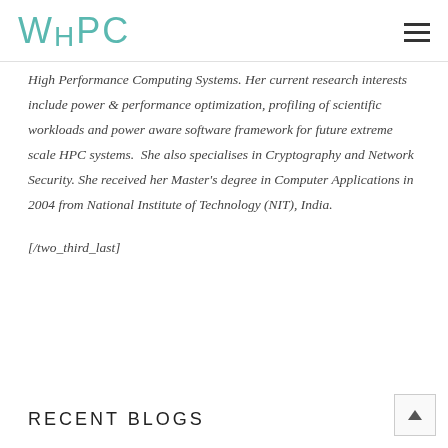WHPC
High Performance Computing Systems. Her current research interests include power & performance optimization, profiling of scientific workloads and power aware software framework for future extreme scale HPC systems.  She also specialises in Cryptography and Network Security. She received her Master's degree in Computer Applications in 2004 from National Institute of Technology (NIT), India.
[/two_third_last]
RECENT BLOGS